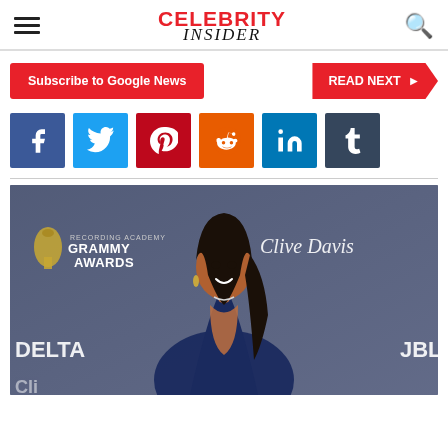Celebrity Insider
Subscribe to Google News
READ NEXT
[Figure (infographic): Social media sharing buttons: Facebook, Twitter, Pinterest, Reddit, LinkedIn, Tumblr]
[Figure (photo): A woman posing at a Grammy Awards / Clive Davis event, wearing a deep V-neck navy blue outfit, with long dark hair, smiling at camera. Backdrop shows Grammy Awards logo and Clive Davis branding, with Delta and JBL logos visible.]